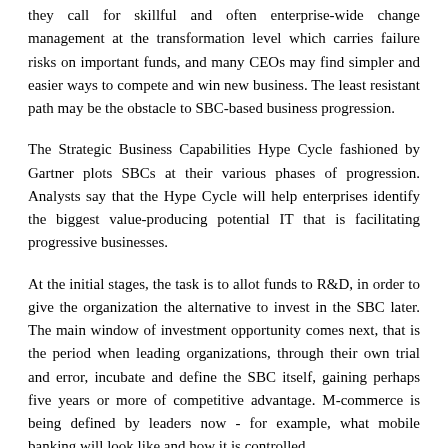they call for skillful and often enterprise-wide change management at the transformation level which carries failure risks on important funds, and many CEOs may find simpler and easier ways to compete and win new business. The least resistant path may be the obstacle to SBC-based business progression.
The Strategic Business Capabilities Hype Cycle fashioned by Gartner plots SBCs at their various phases of progression. Analysts say that the Hype Cycle will help enterprises identify the biggest value-producing potential IT that is facilitating progressive businesses.
At the initial stages, the task is to allot funds to R&D, in order to give the organization the alternative to invest in the SBC later. The main window of investment opportunity comes next, that is the period when leading organizations, through their own trial and error, incubate and define the SBC itself, gaining perhaps five years or more of competitive advantage. M-commerce is being defined by leaders now - for example, what mobile banking will look like and how it is controlled.
For organizations that wait until later, fast follower, or copying, action will reduce the negative effects of industry distractions. Those who leave any decision until the Plateau of Productivity are more likely to find themselves at an increasing comparative disadvantage and must invest quickly to repair.